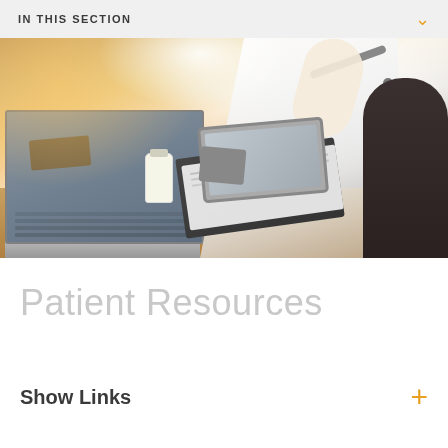IN THIS SECTION
[Figure (photo): Doctor in white coat with stethoscope sitting at a desk with a laptop, medication bottle, tablet, and documents, consulting with a patient]
Patient Resources
Show Links